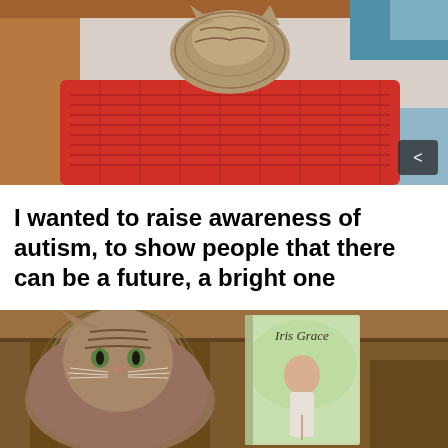[Figure (photo): A fluffy tabby cat resting on a red knitted cushion, viewed from above, with teal/blue background elements visible]
I wanted to raise awareness of autism, to show people that there can be a future, a bright one
[Figure (photo): A large Maine Coon tabby cat with long fur sitting next to a book titled 'Iris Grace' which shows a young girl on its cover, in front of a wooden dresser]